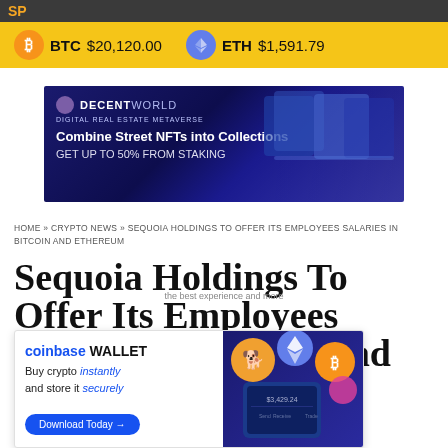SP
BTC $20,120.00   ETH $1,591.79
[Figure (screenshot): DecentWorld Digital Real Estate METAVERSE banner ad. Text: Combine Street NFTs into Collections. GET UP TO 50% FROM STAKING.]
HOME » CRYPTO NEWS » SEQUOIA HOLDINGS TO OFFER ITS EMPLOYEES SALARIES IN BITCOIN AND ETHEREUM
Sequoia Holdings To Offer Its Employees Salaries In Bitcoin And Ethereum
[Figure (screenshot): Coinbase Wallet advertisement overlay. Text: coinbase WALLET. Buy crypto instantly and store it securely. Download Today button. Shows $3,429.24 balance on phone mockup.]